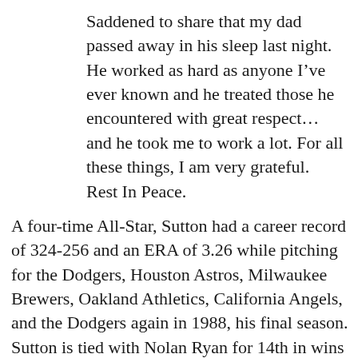Saddened to share that my dad passed away in his sleep last night. He worked as hard as anyone I’ve ever known and he treated those he encountered with great respect…and he took me to work a lot. For all these things, I am very grateful. Rest In Peace.
A four-time All-Star, Sutton had a career record of 324-256 and an ERA of 3.26 while pitching for the Dodgers, Houston Astros, Milwaukee Brewers, Oakland Athletics, California Angels, and the Dodgers again in 1988, his final season. Sutton is tied with Nolan Ryan for 14th in wins and ranks seventh in innings pitched (5,282),